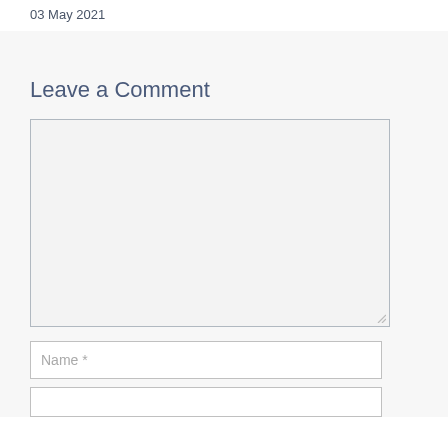03 May 2021
Leave a Comment
Name *